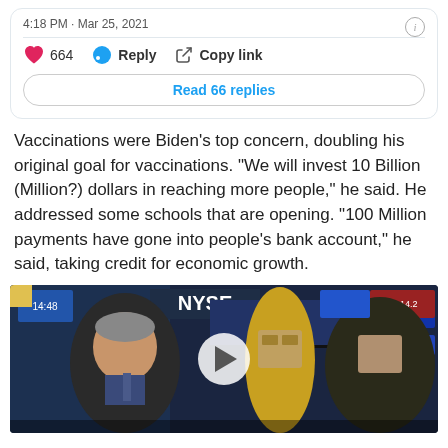4:18 PM · Mar 25, 2021
664  Reply  Copy link
Read 66 replies
Vaccinations were Biden's top concern, doubling his original goal for vaccinations. "We will invest 10 Billion (Million?) dollars in reaching more people," he said. He addressed some schools that are opening.  "100 Million payments have gone into people's bank account," he said, taking credit for economic growth.
[Figure (screenshot): Video thumbnail showing NYSE trading floor with people being interviewed, with a play button overlay]